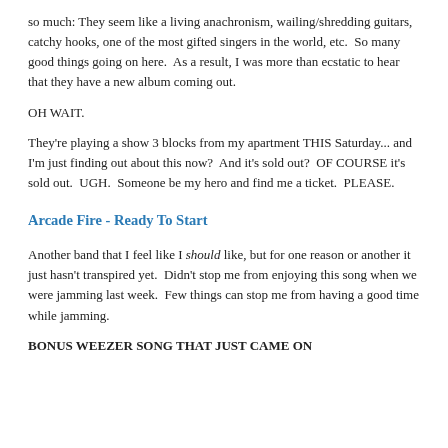so much: They seem like a living anachronism, wailing/shredding guitars, catchy hooks, one of the most gifted singers in the world, etc.  So many good things going on here.  As a result, I was more than ecstatic to hear that they have a new album coming out.
OH WAIT.
They're playing a show 3 blocks from my apartment THIS Saturday... and I'm just finding out about this now?  And it's sold out?  OF COURSE it's sold out.  UGH.  Someone be my hero and find me a ticket.  PLEASE.
Arcade Fire - Ready To Start
Another band that I feel like I should like, but for one reason or another it just hasn't transpired yet.  Didn't stop me from enjoying this song when we were jamming last week.  Few things can stop me from having a good time while jamming.
BONUS WEEZER SONG THAT JUST CAME ON